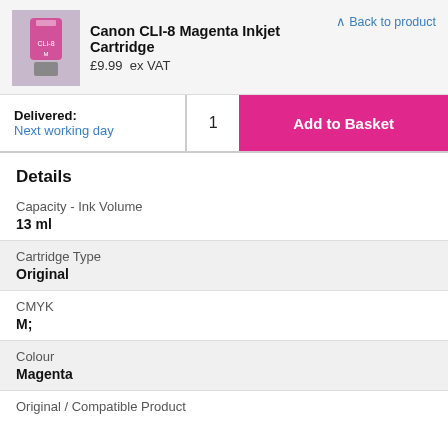Canon CLI-8 Magenta Inkjet Cartridge
£9.99 ex VAT
Back to product
Delivered: Next working day
1
Add to Basket
Details
Capacity - Ink Volume
13 ml
Cartridge Type
Original
CMYK
M;
Colour
Magenta
Original / Compatible Product